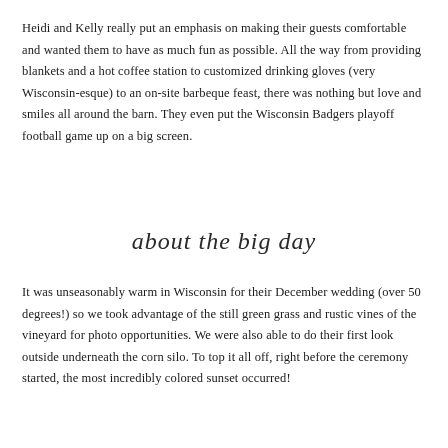Heidi and Kelly really put an emphasis on making their guests comfortable and wanted them to have as much fun as possible.  All the way from providing blankets and a hot coffee station to customized drinking gloves (very Wisconsin-esque) to an on-site barbeque feast, there was nothing but love and smiles all around the barn.  They even put the Wisconsin Badgers playoff football game up on a big screen.
about the big day
It was unseasonably warm in Wisconsin for their December wedding (over 50 degrees!) so we took advantage of the still green grass and rustic vines of the vineyard for photo opportunities.  We were also able to do their first look outside underneath the corn silo.  To top it all off, right before the ceremony started, the most incredibly colored sunset occurred!